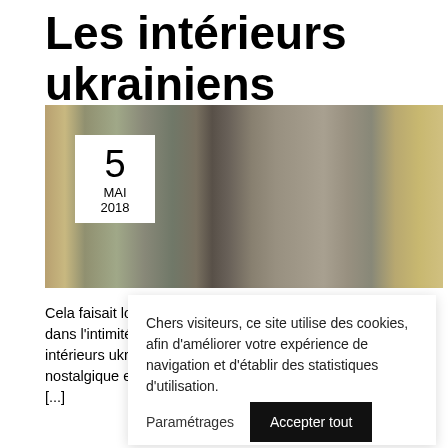Les intérieurs ukrainiens
[Figure (photo): Photo of crystal glassware on a table reflected in a mirror, with a person holding a camera visible in the reflection. A white date box shows '5 MAI 2018' overlaid on the left side of the image.]
Cela faisait lo dans l'intimité intérieurs ukr nostalgique e [...]
Chers visiteurs, ce site utilise des cookies, afin d'améliorer votre expérience de navigation et d'établir des statistiques d'utilisation.
Paramétrages    Accepter tout